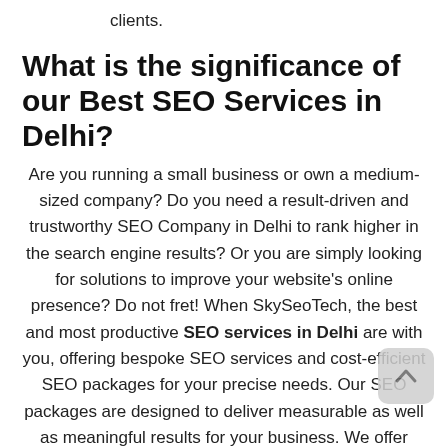clients.
What is the significance of our Best SEO Services in Delhi?
Are you running a small business or own a medium-sized company? Do you need a result-driven and trustworthy SEO Company in Delhi to rank higher in the search engine results? Or you are simply looking for solutions to improve your website's online presence? Do not fret! When SkySeoTech, the best and most productive SEO services in Delhi are with you, offering bespoke SEO services and cost-efficient SEO packages for your precise needs. Our SEO packages are designed to deliver measurable as well as meaningful results for your business. We offer industry-focused SEO services to take proper care